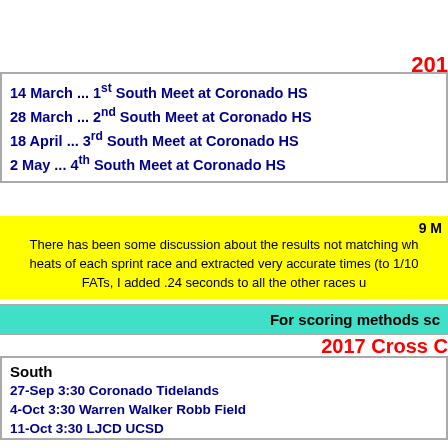201
14 March ... 1st South Meet at Coronado HS
28 March ... 2nd South Meet at Coronado HS
18 April ... 3rd South Meet at Coronado HS
2 May ... 4th South Meet at Coronado HS
9 M
There has been some discussion about the results not matching wh heats of each sprint race and extracted very accurate times (to 1/10 FATs, I added .24 seconds to all the other races u
For scoring methods sc
2017 Cross C
South
27-Sep 3:30 Coronado Tidelands
4-Oct 3:30 Warren Walker Robb Field
11-Oct 3:30 LJCD UCSD
18-Oct 3:30 Bishops UCSD
25-Oct 3:30 Lindo Lake - Cancelled because of heat
1-Nov 3:30 Coronado Tidelands